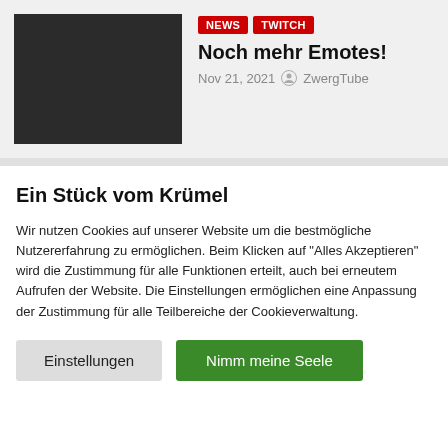[Figure (photo): Dark/black thumbnail image for article]
NEWS   TWITCH
Noch mehr Emotes!
Nov 21, 2021  ZwergTube
Ein Stück vom Krümel
Wir nutzen Cookies auf unserer Website um die bestmögliche Nutzererfahrung zu ermöglichen. Beim Klicken auf "Alles Akzeptieren" wird die Zustimmung für alle Funktionen erteilt, auch bei erneutem Aufrufen der Website. Die Einstellungen ermöglichen eine Anpassung der Zustimmung für alle Teilbereiche der Cookieverwaltung.
Einstellungen   Nimm meine Seele